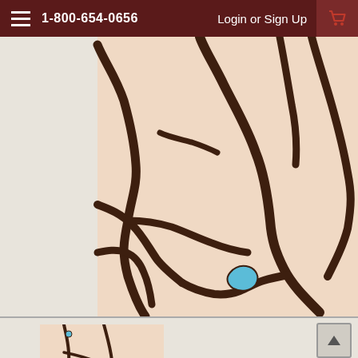1-800-654-0656   Login or Sign Up
[Figure (map): Topographic/trail map showing winding brown river or trail paths on a tan/beige background with a small blue water feature (lake or pond) visible at lower right portion of the map]
[Figure (map): Thumbnail version of the same trail/topographic map showing a small blue water feature near top and winding path lines below]